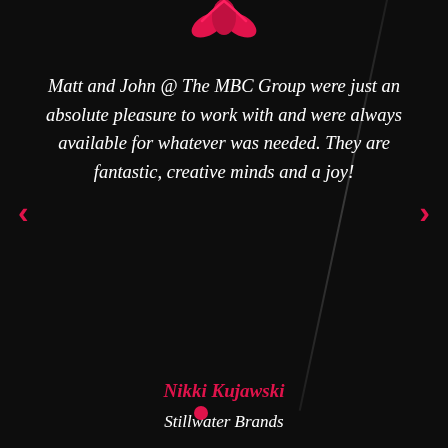[Figure (logo): Pink/red stylized logo at top center, resembling a raptors claw or feather motif]
Matt and John @ The MBC Group were just an absolute pleasure to work with and were always available for whatever was needed. They are fantastic, creative minds and a joy!
Nikki Kujawski
Stillwater Brands